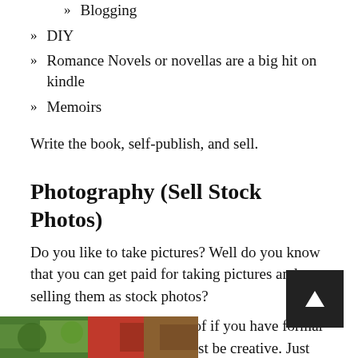Blogging
DIY
Romance Novels or novellas are a big hit on kindle
Memoirs
Write the book, self-publish, and sell.
Photography (Sell Stock Photos)
Do you like to take pictures?  Well do you know that you can get paid for taking pictures and selling them as stock photos?
You can do this regardless of if you have formal training. Of course, you must be creative.  Just look at Deposit Photo or Shutterstock to get some ideas for stock photo ideas.
[Figure (photo): Partial view of a colorful photo strip at the bottom of the page showing plant and red elements]